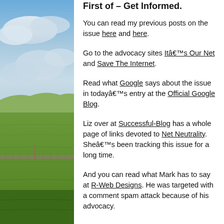First of – Get Informed.
You can read my previous posts on the issue here and here.
Go to the advocacy sites Itâ€™s Our Net and Save The Internet.
Read what Google says about the issue in todayâ€™s entry at the Official Google Blog.
Liz over at Successful-Blog has a whole page of links devoted to Net Neutrality. Sheâ€™s been tracking this issue for a long time.
And you can read what Mark has to say at R-Web Designs. He was targeted with a comment spam attack because of his advocacy.
[Figure (photo): Outdoor landscape photograph showing a countryside scene with green fields, stone walls, and a blue sky with clouds, shown as a vertical strip on the left side of the page.]